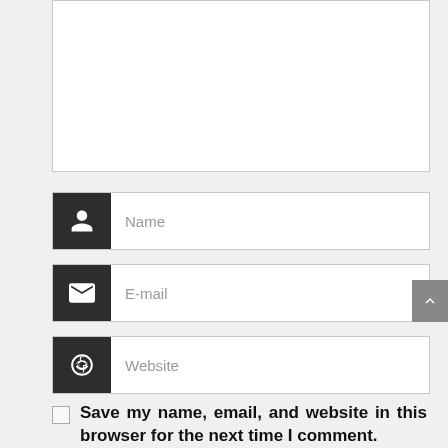[Figure (screenshot): Comment form with textarea, Name, E-mail, Website input fields and a checkbox for saving info]
Name
E-mail
Website
Save my name, email, and website in this browser for the next time I comment.